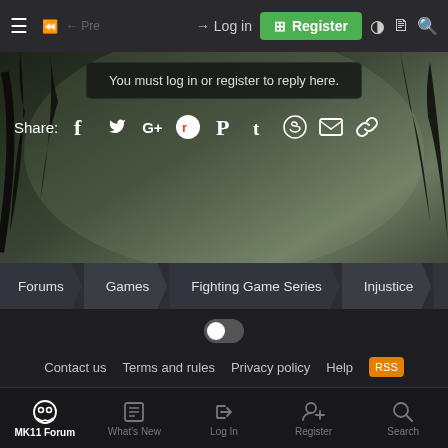≡  ⬅  Log in  Register  ● 📄 🔍
You must log in or register to reply here.
Share: f t G+ reddit pinterest t WhatsApp mail link
Forums  Games  Fighting Game Series  Injustice  Injustice 2  Inj
[Figure (screenshot): Dark mode toggle (pill toggle switch)]
Contact us   Terms and rules   Privacy policy   Help  RSS
Forum software by XenForo™ © 2010-2019 XenForo Ltd. | Add-ons by ThemeHome
[Figure (screenshot): Social media buttons: YouTube, Facebook, Twitter]
MK11 Forum  What's New  Log In  Register  Search